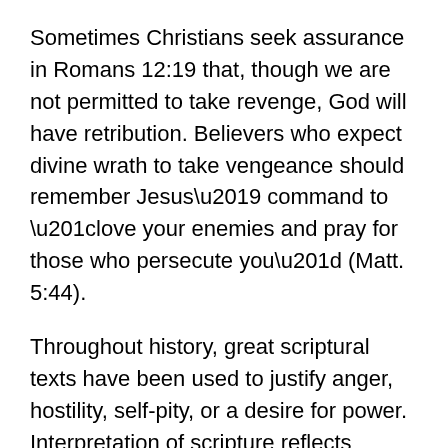Sometimes Christians seek assurance in Romans 12:19 that, though we are not permitted to take revenge, God will have retribution. Believers who expect divine wrath to take vengeance should remember Jesus' command to “love your enemies and pray for those who persecute you” (Matt. 5:44).
Throughout history, great scriptural texts have been used to justify anger, hostility, self-pity, or a desire for power. Interpretation of scripture reflects whatever spirit dwells in its interpreters. Peacemakers who serve God’s kingdom of peace are, like Israel’s prophets and Jesus, people who speak the truth and resist using scripture to destroy others or justify themselves.